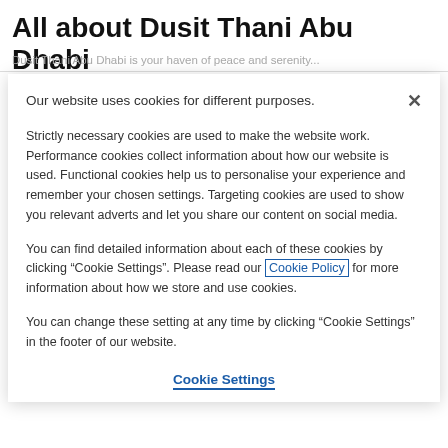All about Dusit Thani Abu Dhabi
Dusit Thani Abu Dhabi is your haven of peace and serenity...
Our website uses cookies for different purposes.
Strictly necessary cookies are used to make the website work. Performance cookies collect information about how our website is used. Functional cookies help us to personalise your experience and remember your chosen settings. Targeting cookies are used to show you relevant adverts and let you share our content on social media.
You can find detailed information about each of these cookies by clicking “Cookie Settings”. Please read our Cookie Policy for more information about how we store and use cookies.
You can change these setting at any time by clicking “Cookie Settings” in the footer of our website.
Cookie Settings